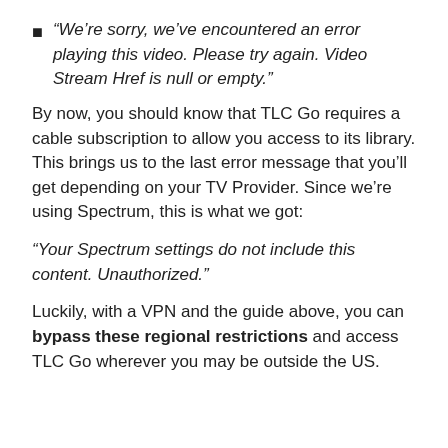“We’re sorry, we’ve encountered an error playing this video. Please try again. Video Stream Href is null or empty.”
By now, you should know that TLC Go requires a cable subscription to allow you access to its library. This brings us to the last error message that you’ll get depending on your TV Provider. Since we’re using Spectrum, this is what we got:
“Your Spectrum settings do not include this content. Unauthorized.”
Luckily, with a VPN and the guide above, you can bypass these regional restrictions and access TLC Go wherever you may be outside the US.